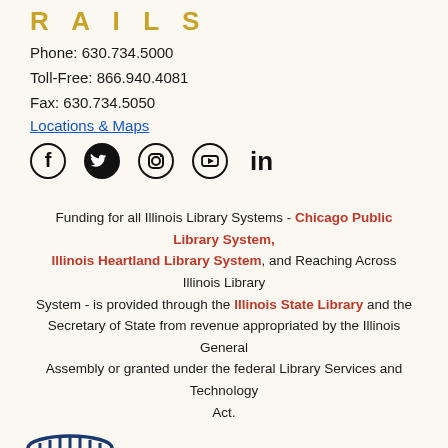[Figure (logo): RAILS partial logo letters top (R A I L S) in gold, partially cropped at top]
Phone: 630.734.5000
Toll-Free: 866.940.4081
Fax: 630.734.5050
Locations & Maps (hyperlink)
[Figure (illustration): Social media icons: Facebook, Twitter, Instagram, YouTube, LinkedIn]
Funding for all Illinois Library Systems - Chicago Public Library System, Illinois Heartland Library System, and Reaching Across Illinois Library System - is provided through the Illinois State Library and the Secretary of State from revenue appropriated by the Illinois General Assembly or granted under the federal Library Services and Technology Act.
[Figure (logo): RAILS logo with barrel/cylinder icon in navy and gold, letters RAILS in gold, subtitle REACHING ACROSS ILLINOIS LIBRARY SYSTEM in navy]